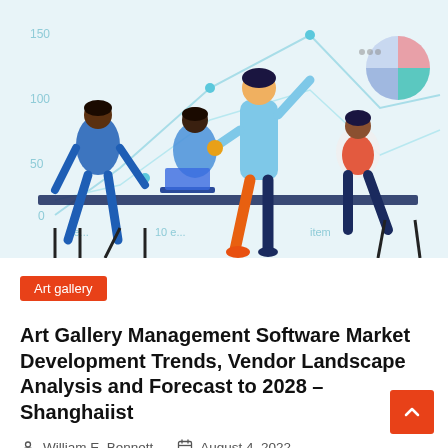[Figure (illustration): Illustration of business people sitting around a conference table with laptops, with a person standing and presenting. Behind them is a background showing chart axes with values 0, 50, 100, 150 on the y-axis and item labels on the x-axis, along with a pie chart in the top right corner. Light blue color scheme.]
Art gallery
Art Gallery Management Software Market Development Trends, Vendor Landscape Analysis and Forecast to 2028 – Shanghaiist
William E. Bennett   August 4, 2022